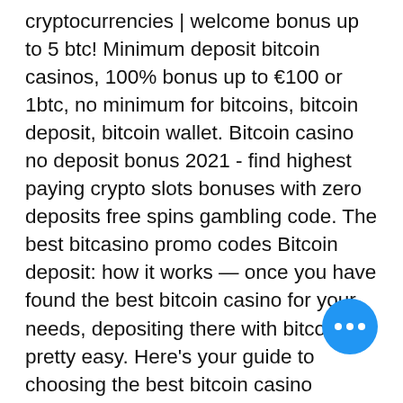cryptocurrencies | welcome bonus up to 5 btc! Minimum deposit bitcoin casinos, 100% bonus up to €100 or 1btc, no minimum for bitcoins, bitcoin deposit, bitcoin wallet. Bitcoin casino no deposit bonus 2021 - find highest paying crypto slots bonuses with zero deposits free spins gambling code. The best bitcasino promo codes Bitcoin deposit: how it works — once you have found the best bitcoin casino for your needs, depositing there with bitcoin is pretty easy. Here's your guide to choosing the best bitcoin casino bonuses. These gambling sites allow players to carry out deposit and withdrawal transactions using. — the minimum deposit amount is 0. Both deposits and withdrawals reflect instantly, which is a definite plus side of using cryptocurrency. When making a casino deposit, the mo leaves the wallet and is re-directed to casino. At the casino, players have the
[Figure (other): Blue circular chat button with three white dots]